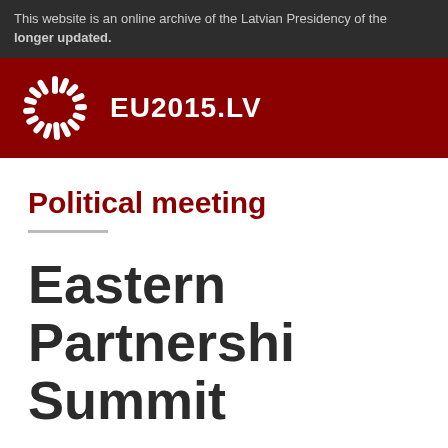This website is an online archive of the Latvian Presidency of the longer updated.
[Figure (logo): EU2015.LV Latvian Presidency logo — white radial/spiral emblem on dark red background with text EU2015.LV]
Political meeting
Eastern Partnership Summit